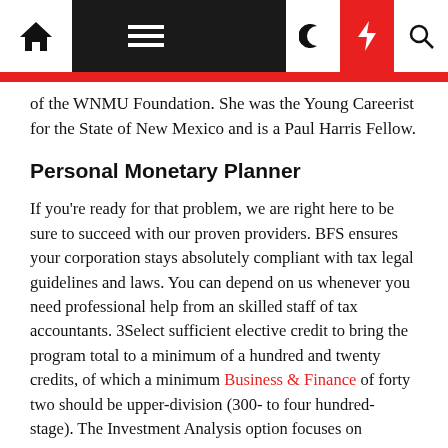Navigation bar with home, menu, moon, bolt, search icons
of the WNMU Foundation. She was the Young Careerist for the State of New Mexico and is a Paul Harris Fellow.
Personal Monetary Planner
If you're ready for that problem, we are right here to be sure to succeed with our proven providers. BFS ensures your corporation stays absolutely compliant with tax legal guidelines and laws. You can depend on us whenever you need professional help from an skilled staff of tax accountants. 3Select sufficient elective credit to bring the program total to a minimum of a hundred and twenty credits, of which a minimum Business & Finance of forty two should be upper-division (300- to four hundred-stage). The Investment Analysis option focuses on